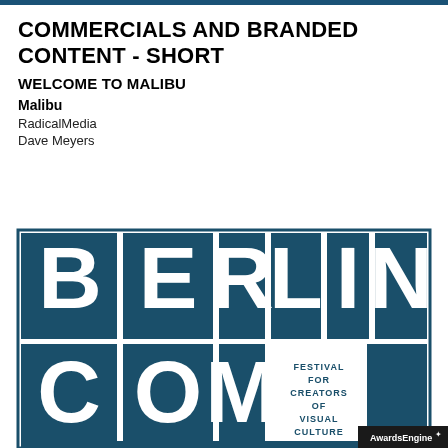COMMERCIALS AND BRANDED CONTENT - SHORT
WELCOME TO MALIBU
Malibu
RadicalMedia
Dave Meyers
[Figure (logo): Berlin Commercial festival logo — large typographic BERLIN COMMERCIAL text in dark teal block letters on white background, with 'FESTIVAL FOR CREATORS OF VISUAL CULTURE' text, and AwardsEngine badge in bottom right corner]